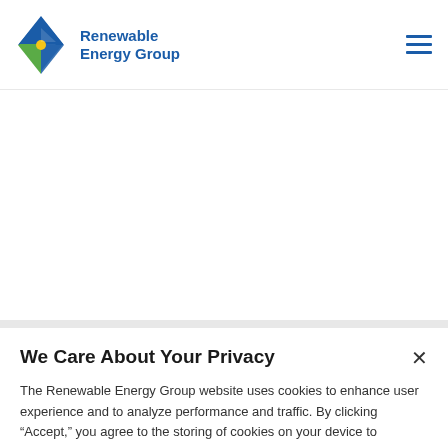[Figure (logo): Renewable Energy Group logo with diamond shape in blue, green, and yellow, next to bold blue text reading 'Renewable Energy Group']
We Care About Your Privacy
The Renewable Energy Group website uses cookies to enhance user experience and to analyze performance and traffic. By clicking “Accept,” you agree to the storing of cookies on your device to enhance site navigation,